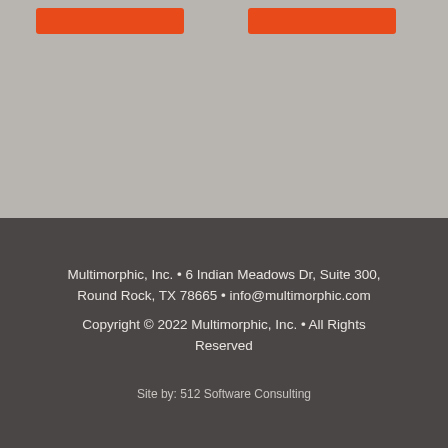[Figure (other): Gray background section with two orange buttons at the top]
Multimorphic, Inc. • 6 Indian Meadows Dr, Suite 300, Round Rock, TX 78665 • info@multimorphic.com
Copyright © 2022 Multimorphic, Inc. • All Rights Reserved
Site by: 512 Software Consulting